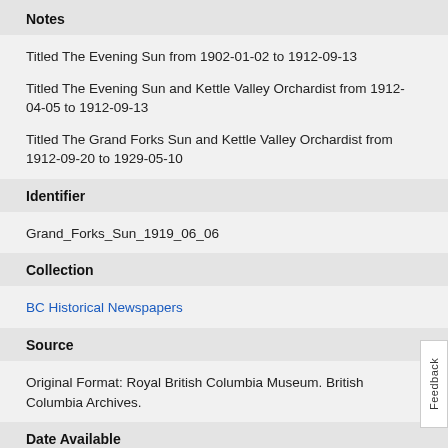Notes
Titled The Evening Sun from 1902-01-02 to 1912-09-13
Titled The Evening Sun and Kettle Valley Orchardist from 1912-04-05 to 1912-09-13
Titled The Grand Forks Sun and Kettle Valley Orchardist from 1912-09-20 to 1929-05-10
Identifier
Grand_Forks_Sun_1919_06_06
Collection
BC Historical Newspapers
Source
Original Format: Royal British Columbia Museum. British Columbia Archives.
Date Available